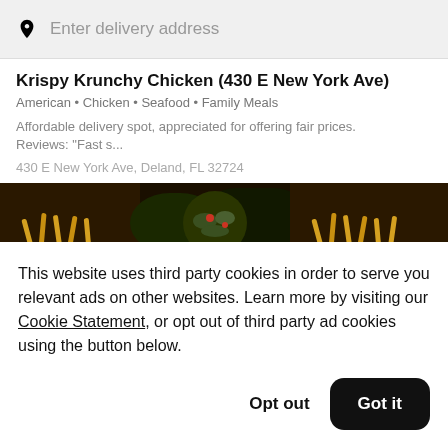Enter delivery address
Krispy Krunchy Chicken (430 E New York Ave)
American • Chicken • Seafood • Family Meals
Affordable delivery spot, appreciated for offering fair prices. Reviews: "Fast s...
430 E New York Ave, Deland, FL 32724
[Figure (photo): Food photo showing bowls of fried foods including french fries and a salad bowl on a dark background]
This website uses third party cookies in order to serve you relevant ads on other websites. Learn more by visiting our Cookie Statement, or opt out of third party ad cookies using the button below.
Opt out
Got it